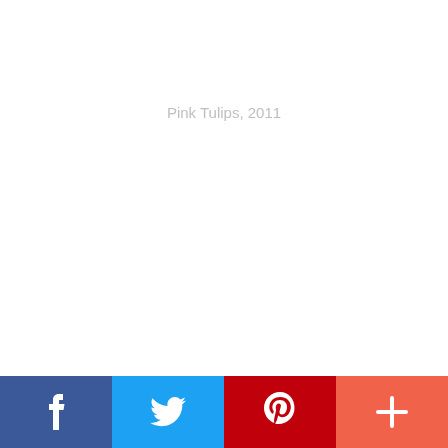Pink Tulips, 2011
Peony 001
[Figure (other): Social media share bar with Facebook, Twitter, Pinterest, and More (+) buttons]